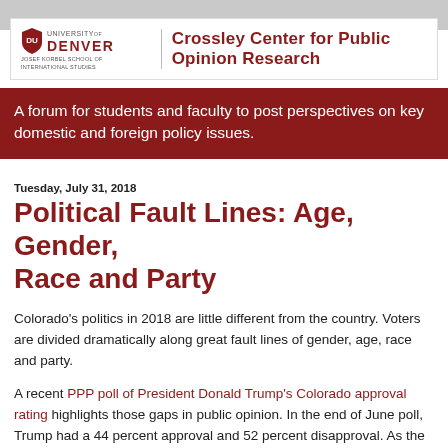Crossley Center for Public Opinion Research — University of Denver, Josef Korbel School of International Studies
A forum for students and faculty to post perspectives on key domestic and foreign policy issues.
Tuesday, July 31, 2018
Political Fault Lines: Age, Gender, Race and Party
Colorado's politics in 2018 are little different from the country. Voters are divided dramatically along great fault lines of gender, age, race and party.
A recent PPP poll of President Donald Trump's Colorado approval rating highlights those gaps in public opinion. In the end of June poll, Trump had a 44 percent approval and 52 percent disapproval. As the table below shows, it is polarized along the fault lines of age, gender, race and party.